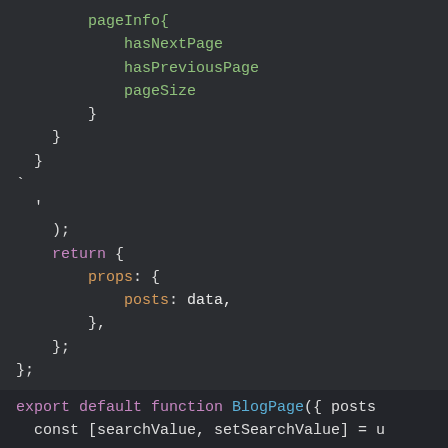[Figure (screenshot): Code editor screenshot showing JavaScript/GraphQL code with dark theme. Code shows pageInfo block with hasNextPage, hasPreviousPage, pageSize fields, closing braces, backtick, closing parenthesis, return statement with props object containing posts: data, and export default function BlogPage declaration.]